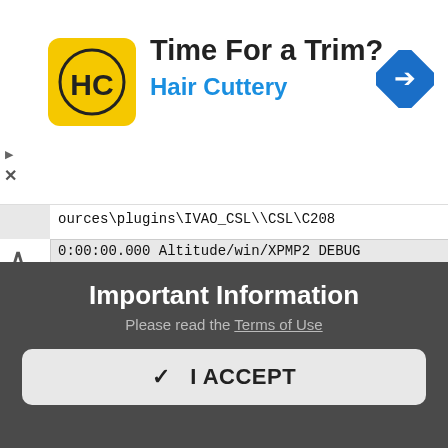[Figure (screenshot): Advertisement banner for Hair Cuttery salon. Shows yellow logo with HC letters, headline 'Time For a Trim?', subheading 'Hair Cuttery' in blue, and a blue navigation/map arrow icon on the right.]
ources\plugins\IVAO_CSL\\CSL\C208
0:00:00.000 Altitude/win/XPMP2 DEBUG
CSLModels.cpp:666/CSLModelsReadPkgId: Added
package 'C750' from
Resources\plugins\IVAO_CSL\\CSL\C750
0:00:00.000 Altitude/win/XPMP2 DEBUG
CSLModels.cpp:666/CSLModelsReadPkgId: Added
package 'CARS' from
Resources\plugins\IVAO_CSL\\CSL\CARS
0:00:00.000 Altitude/win/XPMP2 DEBUG
CSLModels.cpp:666/CSLModelsReadPkgId: Added
Important Information
Please read the Terms of Use
✓  I ACCEPT